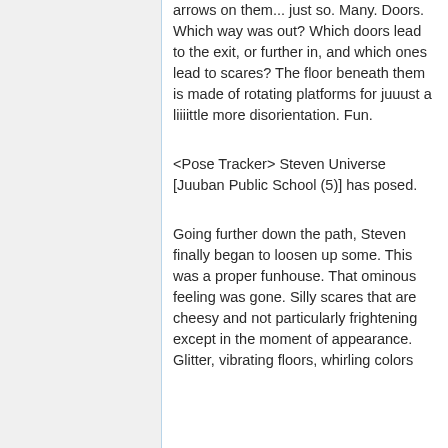arrows on them... just so. Many. Doors. Which way was out? Which doors lead to the exit, or further in, and which ones lead to scares? The floor beneath them is made of rotating platforms for juuust a liiiittle more disorientation. Fun.
<Pose Tracker> Steven Universe [Juuban Public School (5)] has posed.
Going further down the path, Steven finally began to loosen up some. This was a proper funhouse. That ominous feeling was gone. Silly scares that are cheesy and not particularly frightening except in the moment of appearance. Glitter, vibrating floors, whirling colors